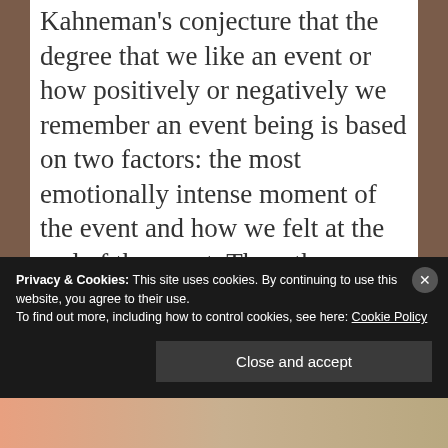Kahneman's conjecture that the degree that we like an event or how positively or negatively we remember an event being is based on two factors: the most emotionally intense moment of the event and how we felt at the end of the event. Thus, the name, peak-end experience.
Kahneman arrived at his formulation by
Privacy & Cookies: This site uses cookies. By continuing to use this website, you agree to their use. To find out more, including how to control cookies, see here: Cookie Policy